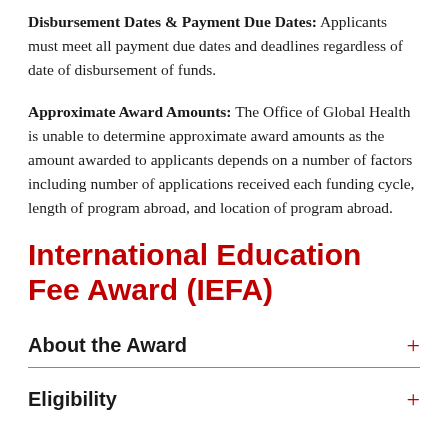Disbursement Dates & Payment Due Dates: Applicants must meet all payment due dates and deadlines regardless of date of disbursement of funds.
Approximate Award Amounts: The Office of Global Health is unable to determine approximate award amounts as the amount awarded to applicants depends on a number of factors including number of applications received each funding cycle, length of program abroad, and location of program abroad.
International Education Fee Award (IEFA)
About the Award
Eligibility